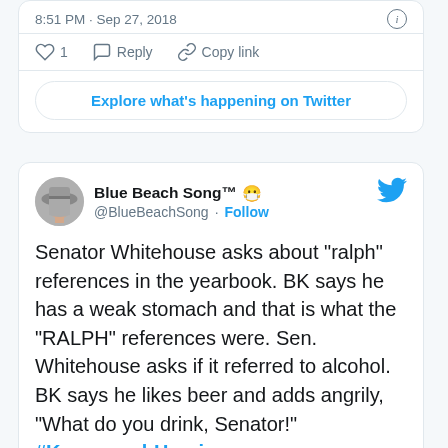8:51 PM · Sep 27, 2018
[Figure (screenshot): Twitter tweet action bar with heart (1), Reply, and Copy link icons]
Explore what's happening on Twitter
[Figure (screenshot): Second tweet card from Blue Beach Song @BlueBeachSong with follow link and Twitter bird logo. Tweet text: Senator Whitehouse asks about "ralph" references in the yearbook. BK says he has a weak stomach and that is what the "RALPH" references were. Sen. Whitehouse asks if it referred to alcohol. BK says he likes beer and adds angrily, "What do you drink, Senator!" #KavanaughHearings. Timestamp: 8:54 PM · Sep 27, 2018]
8:54 PM · Sep 27, 2018